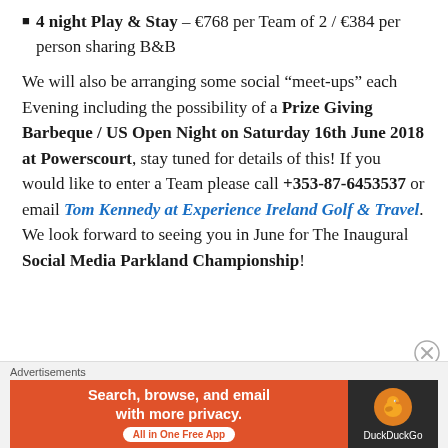4 night Play & Stay – €768 per Team of 2 / €384 per person sharing B&B
We will also be arranging some social “meet-ups” each Evening including the possibility of a Prize Giving Barbeque / US Open Night on Saturday 16th June 2018 at Powerscourt, stay tuned for details of this! If you would like to enter a Team please call +353-87-6453537 or email Tom Kennedy at Experience Ireland Golf & Travel. We look forward to seeing you in June for The Inaugural Social Media Parkland Championship!
[Figure (infographic): DuckDuckGo advertisement banner: orange left section with white text 'Search, browse, and email with more privacy. All in One Free App', dark right section with DuckDuckGo duck logo and brand name.]